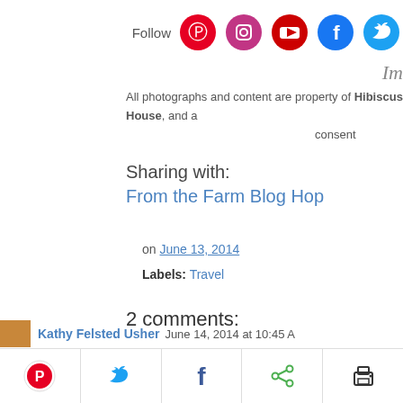Follow
Im
All photographs and content are property of Hibiscus House, and a ... consent ...
Sharing with:
From the Farm Blog Hop
on June 13, 2014
Labels: Travel
2 comments:
Kathy Felsted Usher  June 14, 2014 at 10:45 A...